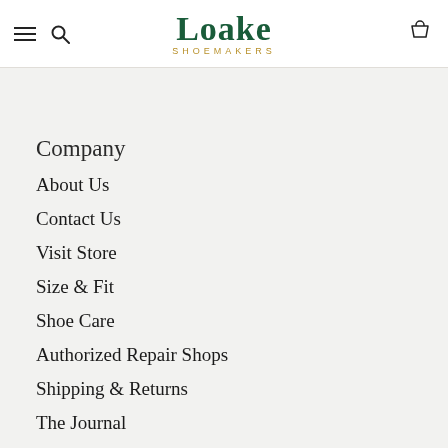Loake SHOEMAKERS
Company
About Us
Contact Us
Visit Store
Size & Fit
Shoe Care
Authorized Repair Shops
Shipping & Returns
The Journal